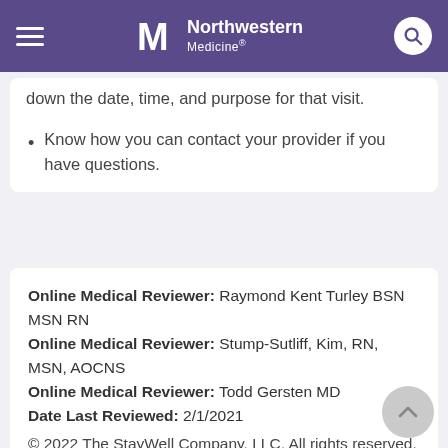Northwestern Medicine
down the date, time, and purpose for that visit.
Know how you can contact your provider if you have questions.
Online Medical Reviewer: Raymond Kent Turley BSN MSN RN
Online Medical Reviewer: Stump-Sutliff, Kim, RN, MSN, AOCNS
Online Medical Reviewer: Todd Gersten MD
Date Last Reviewed: 2/1/2021
© 2022 The StayWell Company, LLC. All rights reserved. This information is not intended as